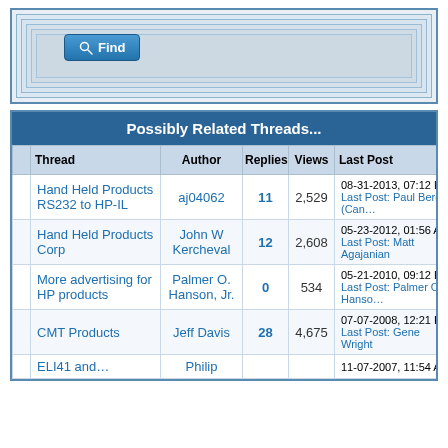[Figure (screenshot): Search box with nested border frames and a blue 'Find' button with magnifier icon]
|  | Thread | Author | Replies | Views | Last Post |
| --- | --- | --- | --- | --- | --- |
|  | Hand Held Products RS232 to HP-IL | aj04062 | 11 | 2,529 | 08-31-2013, 07:12 PM
Last Post: Paul Berger (Can… |
|  | Hand Held Products Corp | John W Kercheval | 12 | 2,608 | 05-23-2012, 01:56 AM
Last Post: Matt Agajanian |
|  | More advertising for HP products | Palmer O. Hanson, Jr. | 0 | 534 | 05-21-2010, 09:12 PM
Last Post: Palmer O. Hanso… |
|  | CMT Products | Jeff Davis | 28 | 4,675 | 07-07-2008, 12:21 PM
Last Post: Gene Wright |
|  | ELI41 and… | Philip |  |  | 11-07-2007, 11:54 AM |